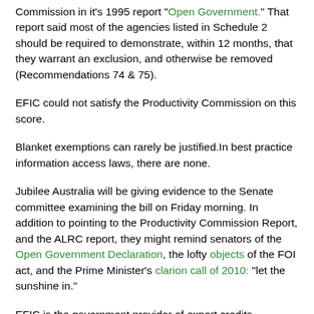Commission in it's 1995 report "Open Government." That report said most of the agencies listed in Schedule 2 should be required to demonstrate, within 12 months, that they warrant an exclusion, and otherwise be removed (Recommendations 74 & 75).
EFIC could not satisfy the Productivity Commission on this score.
Blanket exemptions can rarely be justified.In best practice information access laws, there are none.
Jubilee Australia will be giving evidence to the Senate committee examining the bill on Friday morning. In addition to pointing to the Productivity Commission Report, and the ALRC report, they might remind senators of the Open Government Declaration, the lofty objects of the FOI act, and the Prime Minister's clarion call of 2010: "let the sunshine in."
EFIC is the government provider of export credits, insurance, reinsurance and other financial services that support Australian exports and overseas investments. EFIC was